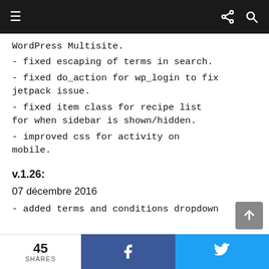≡  [share] [search]
WordPress Multisite.
- fixed escaping of terms in search.
- fixed do_action for wp_login to fix jetpack issue.
- fixed item class for recipe list for when sidebar is shown/hidden.
- improved css for activity on mobile.
v.1.26:
07 décembre 2016
- added terms and conditions dropdown
45 SHARES  f  🐦